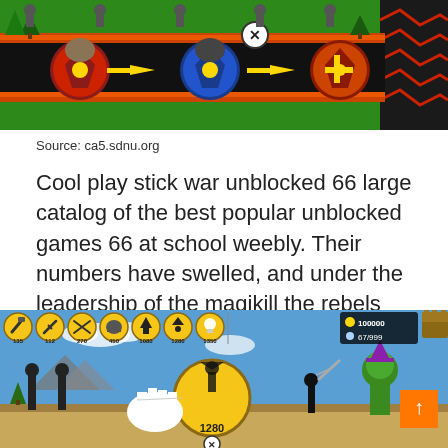[Figure (screenshot): Game screenshot showing knight/warrior upgrade sequence on a lava road with green grass background]
Source: ca5.sdnu.org
Cool play stick war unblocked 66 large catalog of the best popular unblocked games 66 at school weebly. Their numbers have swelled, and under the leadership of the magikill the rebels have become a.
[Figure (screenshot): Stick war game screenshot showing icon bar with costs (135, 112, 270, 450, 1080, 1280, 1350), HUD showing 100000 gold and 67/999, large yellow circle with 1280 cost, hand pointer cursor, orange up-arrow button, and game characters fighting]